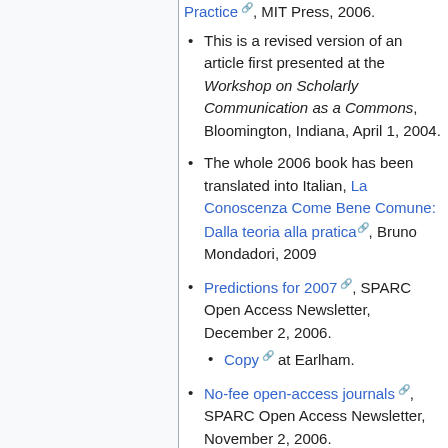Practice, MIT Press, 2006.
This is a revised version of an article first presented at the Workshop on Scholarly Communication as a Commons, Bloomington, Indiana, April 1, 2004.
The whole 2006 book has been translated into Italian, La Conoscenza Come Bene Comune: Dalla teoria alla pratica, Bruno Mondadori, 2009
Predictions for 2007, SPARC Open Access Newsletter, December 2, 2006.
Copy at Earlham.
No-fee open-access journals, SPARC Open Access Newsletter, November 2, 2006.